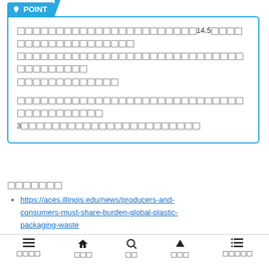[Japanese text block 1 with 14.5 mentioned] [Japanese text block 2] [Japanese text block 3]
[Japanese: References/Further reading]
https://aces.illinois.edu/news/producers-and-consumers-must-share-burden-global-plastic-packaging-waste
Navigation bar with menu, home, search, up, contents icons